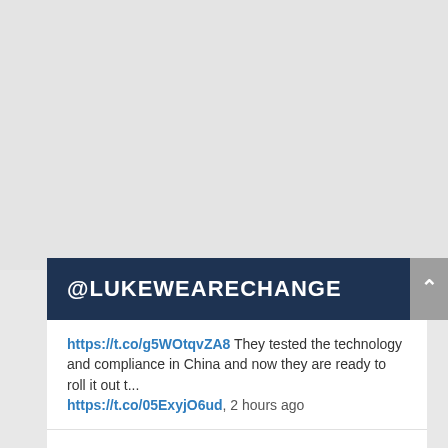@LUKEWEARECHANGE
https://t.co/g5WOtqvZA8 They tested the technology and compliance in China and now they are ready to roll it out t... https://t.co/05ExyjO6ud, 2 hours ago
What would Bill Hicks say about this? https://t.co/2TDgqLWJOT, 3 hours ago